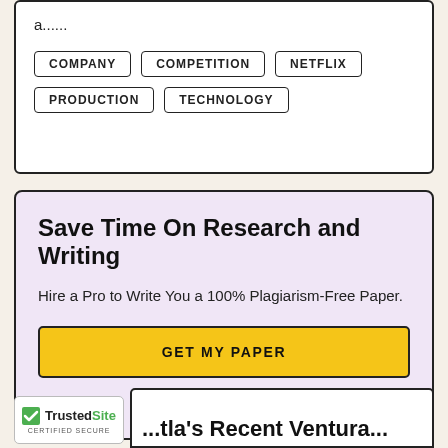a......
COMPANY
COMPETITION
NETFLIX
PRODUCTION
TECHNOLOGY
Save Time On Research and Writing
Hire a Pro to Write You a 100% Plagiarism-Free Paper.
GET MY PAPER
[Figure (logo): TrustedSite Certified Secure badge with green checkmark]
...tla's Recent Ventura...